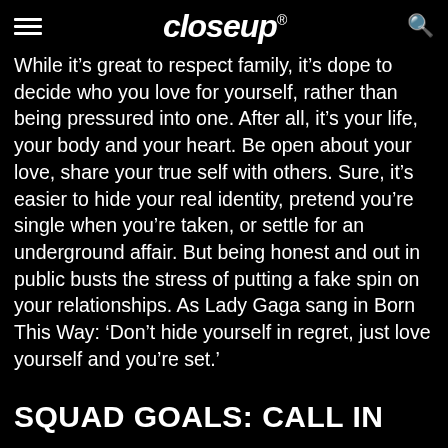closeup
While it’s great to respect family, it’s dope to decide who you love for yourself, rather than being pressured into one. After all, it’s your life, your body and your heart. Be open about your love, share your true self with others. Sure, it’s easier to hide your real identity, pretend you’re single when you’re taken, or settle for an underground affair. But being honest and out in public busts the stress of putting a fake spin on your relationships. As Lady Gaga sang in Born This Way: ‘Don’t hide yourself in regret, just love yourself and you’re set.’
SQUAD GOALS: CALL IN